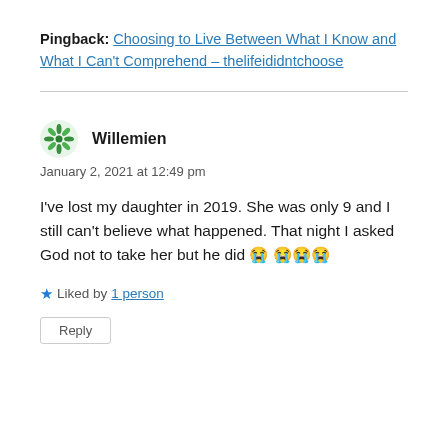Pingback: Choosing to Live Between What I Know and What I Can't Comprehend – thelifeididntchoose
Willemien
January 2, 2021 at 12:49 pm
I've lost my daughter in 2019. She was only 9 and I still can't believe what happened. That night I asked God not to take her but he did 😭😭😭😭
Liked by 1 person
Reply